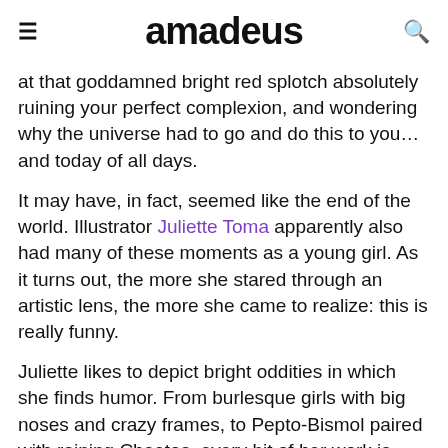amadeus
at that goddamned bright red splotch absolutely ruining your perfect complexion, and wondering why the universe had to go and do this to you… and today of all days.
It may have, in fact, seemed like the end of the world. Illustrator Juliette Toma apparently also had many of these moments as a young girl. As it turns out, the more she stared through an artistic lens, the more she came to realize: this is really funny.
Juliette likes to depict bright oddities in which she finds humor. From burlesque girls with big noses and crazy frames, to Pepto-Bismol paired with raining Cheetos, every bit of her work is effortlessly